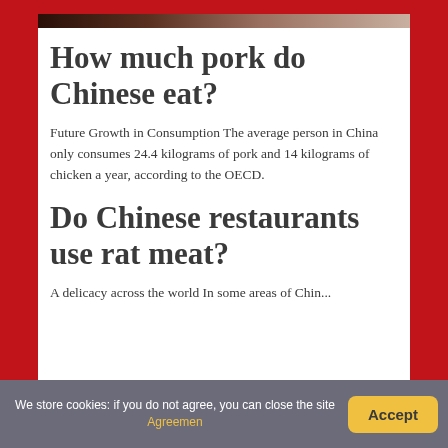[Figure (photo): Partial food/meat photo visible at top of page]
How much pork do Chinese eat?
Future Growth in Consumption The average person in China only consumes 24.4 kilograms of pork and 14 kilograms of chicken a year, according to the OECD.
Do Chinese restaurants use rat meat?
A delicacy across the world In some areas of Chin...
We store cookies: if you do not agree, you can close the site Agreemen